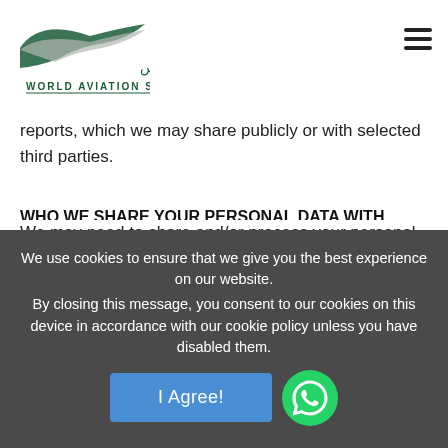World Aviation Services logo header with navigation
reports, which we may share publicly or with selected third parties.
WHO WE SHARE YOUR PERSONAL DATA WITH
We may need to share and/or process your personal data with third parties. We will only disclose your personal data to:
We use cookies to ensure that we give you the best experience on our website. By closing this message, you consent to our cookies on this device in accordance with our cookie policy unless you have disabled them.